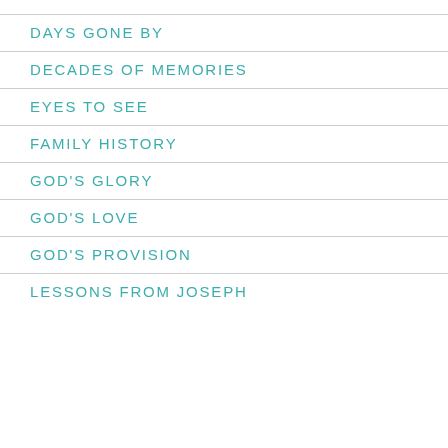DAYS GONE BY
DECADES OF MEMORIES
EYES TO SEE
FAMILY HISTORY
GOD'S GLORY
GOD'S LOVE
GOD'S PROVISION
LESSONS FROM JOSEPH